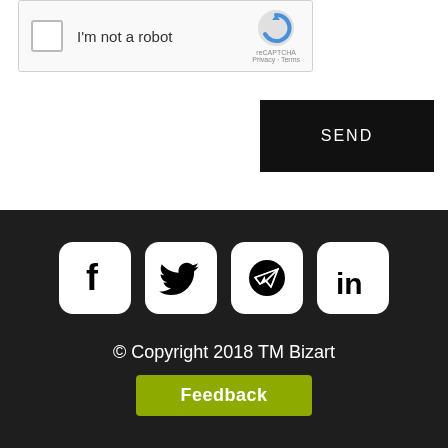[Figure (screenshot): reCAPTCHA widget with checkbox labeled 'I'm not a robot' and reCAPTCHA logo with Privacy and Terms links]
SEND
[Figure (infographic): Social media icons for Facebook, Twitter, Telegram, and LinkedIn in white rounded square buttons on dark background]
© Copyright 2018 TM Bizart
Feedback